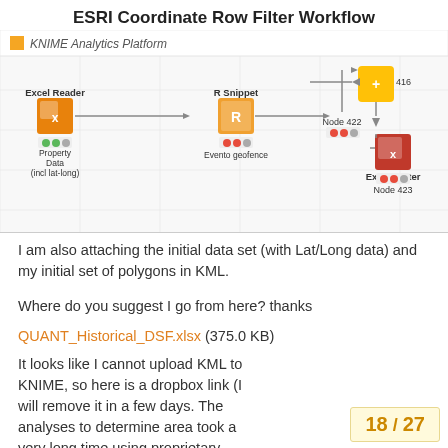ESRI Coordinate Row Filter Workflow
[Figure (screenshot): KNIME Analytics Platform workflow screenshot showing nodes: Excel Reader (Property Data incl lat-long), R Snippet (Evento geofence), Node 416, Node 422, Excel Writer (Node 423) connected in sequence]
I am also attaching the initial data set (with Lat/Long data) and my initial set of polygons in KML.
Where do you suggest I go from here? thanks
QUANT_Historical_DSF.xlsx (375.0 KB)
It looks like I cannot upload KML to KNIME, so here is a dropbox link (I will remove it in a few days. The analyses to determine area took a very long time using proprietary information derived.) Dropbox - Highlands Ranch Colorado.kml - Simplify your life 1
18 / 27